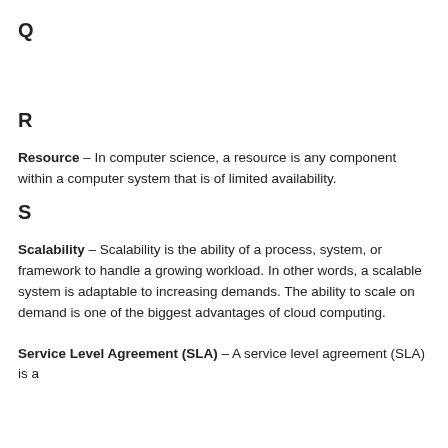Q
R
Resource – In computer science, a resource is any component within a computer system that is of limited availability.
S
Scalability – Scalability is the ability of a process, system, or framework to handle a growing workload. In other words, a scalable system is adaptable to increasing demands. The ability to scale on demand is one of the biggest advantages of cloud computing.
Service Level Agreement (SLA) – A service level agreement (SLA) is a